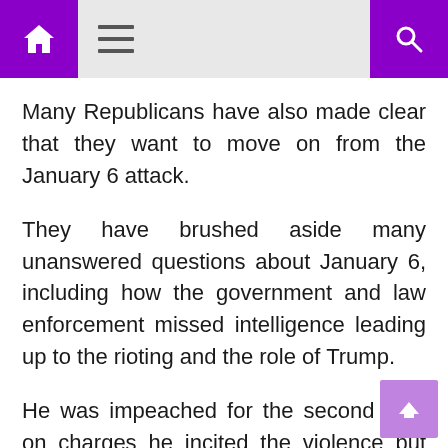Home | Menu | Search
Many Republicans have also made clear that they want to move on from the January 6 attack.
They have brushed aside many unanswered questions about January 6, including how the government and law enforcement missed intelligence leading up to the rioting and the role of Trump.
He was impeached for the second time on charges he incited the violence but was cleared.